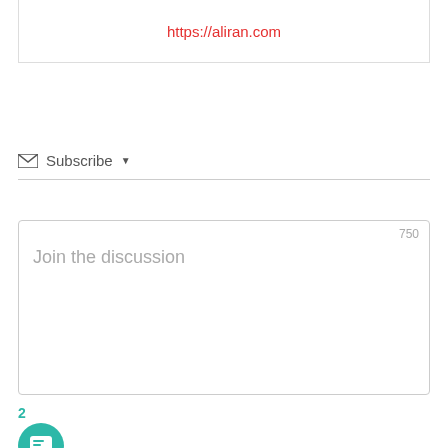https://aliran.com
Subscribe
750
Join the discussion
2
2 COMMENTS